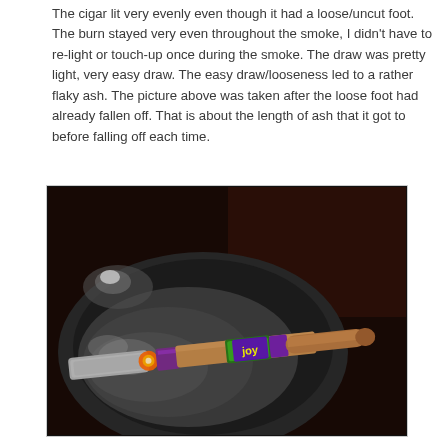The cigar lit very evenly even though it had a loose/uncut foot. The burn stayed very even throughout the smoke, I didn't have to re-light or touch-up once during the smoke. The draw was pretty light, very easy draw. The easy draw/looseness led to a rather flaky ash. The picture above was taken after the loose foot had already fallen off. That is about the length of ash that it got to before falling off each time.
[Figure (photo): A partially smoked cigar with a purple and green band resting in a dark ashtray covered in ash. The lit end shows grey ash and the cigar wrapper is visible.]